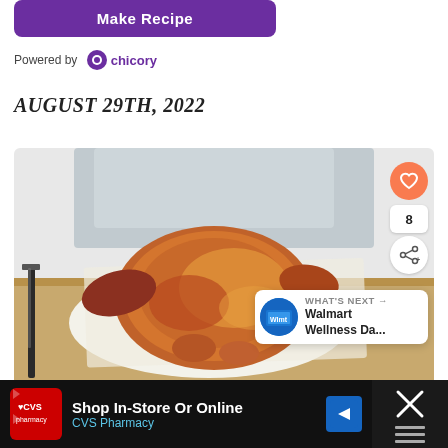[Figure (screenshot): Purple 'Make Recipe' button]
Powered by chicory
AUGUST 29TH, 2022
[Figure (photo): Roasted whole chicken on white parchment paper on a wooden cutting board, with a chef's knife on the left and a blue cloth napkin in the background]
8
WHAT'S NEXT → Walmart Wellness Da...
Shop In-Store Or Online CVS Pharmacy